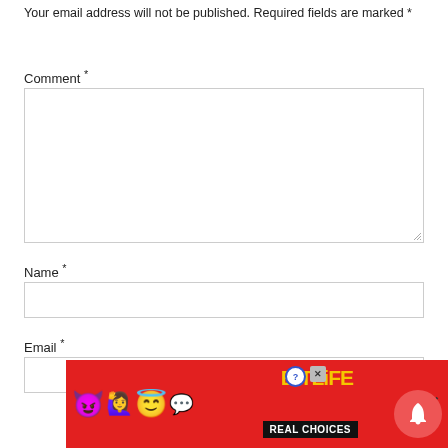Your email address will not be published. Required fields are marked *
Comment *
Name *
Email *
[Figure (screenshot): Comment form with textarea and input fields for Name and Email, plus an ad banner overlay for BitLife at the bottom showing colorful emojis and a notification bell icon]